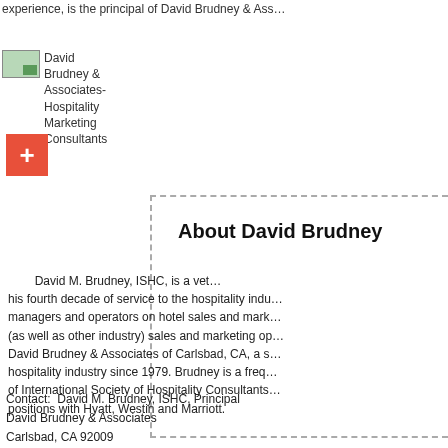experience, is the principal of David Brudney & Ass...
[Figure (logo): David Brudney & Associates- Hospitality Marketing Consultants logo/image placeholder]
David Brudney & Associates- Hospitality Marketing Consultants
[Figure (other): Orange square button with white plus sign]
About David Brudney
David M. Brudney, ISHC, is a veteran... his fourth decade of service to the hospitality indu... managers and operators on hotel sales and mark... (as well as other industry) sales and marketing op... David Brudney & Associates of Carlsbad, CA, a s... hospitality industry since 1979. Brudney is a freq... of International Society of Hospitality Consultants... positions with Hyatt, Westin and Marriott.
Contact:  David M. Brudney, ISHC, Principal
David Brudney & Associates
Carlsbad, CA 92009
Phone:  760-476-0830
Fax:  760-476-0860
Email David Brudney
Web Site:    www.DavidBrudney.com